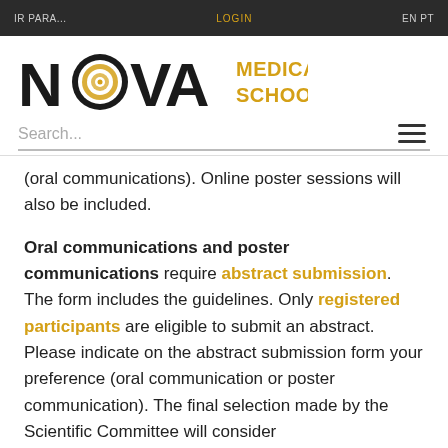IR PARA...    LOGIN    EN PT
[Figure (logo): NOVA Medical School logo with circular concentric rings in the O and gold text reading MEDICAL SCHOOL]
Search...
(oral communications). Online poster sessions will also be included.
Oral communications and poster communications require abstract submission. The form includes the guidelines. Only registered participants are eligible to submit an abstract. Please indicate on the abstract submission form your preference (oral communication or poster communication). The final selection made by the Scientific Committee will consider